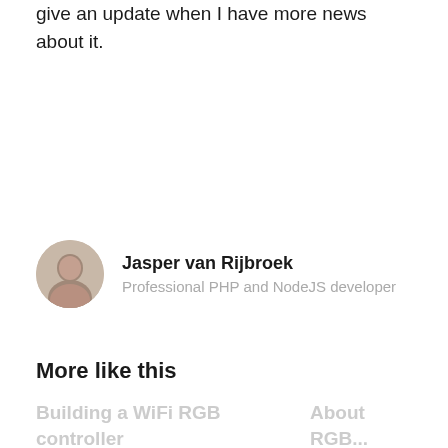give an update when I have more news about it.
Jasper van Rijbroek
Professional PHP and NodeJS developer
More like this
Building a WiFi RGB controller
How I came to use Home Assistant
Rocked my Zigb...